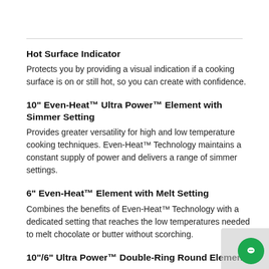Hot Surface Indicator
Protects you by providing a visual indication if a cooking surface is on or still hot, so you can create with confidence.
10" Even-Heat™ Ultra Power™ Element with Simmer Setting
Provides greater versatility for high and low temperature cooking techniques. Even-Heat™ Technology maintains a constant supply of power and delivers a range of simmer settings.
6" Even-Heat™ Element with Melt Setting
Combines the benefits of Even-Heat™ Technology with a dedicated setting that reaches the low temperatures needed to melt chocolate or butter without scorching.
10"/6" Ultra Power™ Double-Ring Round Element